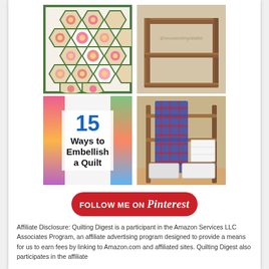[Figure (photo): Colorful hexagon flower quilt with green border pattern]
[Figure (photo): Wooden bookshelf/console table with two shelves]
[Figure (illustration): 15 Ways to Embellish a Quilt - text graphic with colorful fabric background]
[Figure (photo): Quilt rack with quilts draped over it and storage boxes underneath]
[Figure (illustration): Follow me on Pinterest button]
Affiliate Disclosure: Quilting Digest is a participant in the Amazon Services LLC Associates Program, an affiliate advertising program designed to provide a means for us to earn fees by linking to Amazon.com and affiliated sites. Quilting Digest also participates in the affiliate